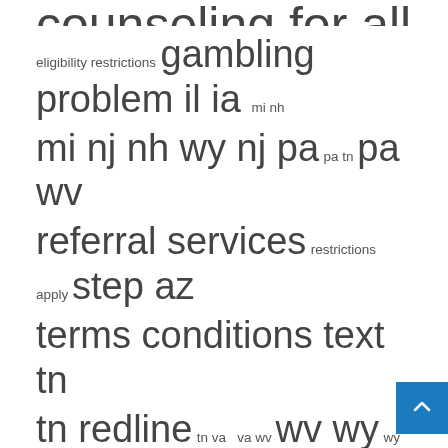counseling for all areas counseling eligibility restrictions gambling problem il ia mi nh mi nj nh wy nj pa pa tn pa wv referral services restrictions apply step az terms conditions text tn tn redline tn va va wv wv wy wy eligibility
Recent Posts
What Harry Styles fans wore for “Harryween”
Reserve Bank of India tightens grip on fraudulent Chinese loan apps
Why Apple Is One of This Analyst’s “Top Picks”